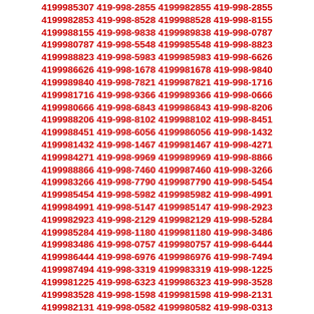4199985307 419-998-2855 4199982855 419-998-2855 4199982853 419-998-8528 4199988528 419-998-8155 4199988155 419-998-9838 4199989838 419-998-0787 4199980787 419-998-5548 4199985548 419-998-8823 4199988823 419-998-5983 4199985983 419-998-6626 4199986626 419-998-1678 4199981678 419-998-9840 4199989840 419-998-7821 4199987821 419-998-1716 4199981716 419-998-9366 4199989366 419-998-0666 4199980666 419-998-6843 4199986843 419-998-8206 4199988206 419-998-8102 4199988102 419-998-8451 4199988451 419-998-6056 4199986056 419-998-1432 4199981432 419-998-1467 4199981467 419-998-4271 4199984271 419-998-9969 4199989969 419-998-8866 4199988866 419-998-7460 4199987460 419-998-3266 4199983266 419-998-7790 4199987790 419-998-5454 4199985454 419-998-5982 4199985982 419-998-4991 4199984991 419-998-5147 4199985147 419-998-2923 4199982923 419-998-2129 4199982129 419-998-5284 4199985284 419-998-1180 4199981180 419-998-3486 4199983486 419-998-0757 4199980757 419-998-6444 4199986444 419-998-6976 4199986976 419-998-7494 4199987494 419-998-3319 4199983319 419-998-1225 4199981225 419-998-6323 4199986323 419-998-3528 4199983528 419-998-1598 4199981598 419-998-2131 4199982131 419-998-0582 4199980582 419-998-0313 4199980313 419-998-7260 4199987260 419-998-7126